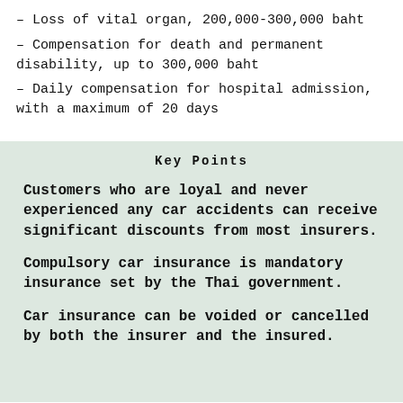– Loss of vital organ, 200,000-300,000 baht
– Compensation for death and permanent disability, up to 300,000 baht
– Daily compensation for hospital admission, with a maximum of 20 days
Key Points
Customers who are loyal and never experienced any car accidents can receive significant discounts from most insurers.
Compulsory car insurance is mandatory insurance set by the Thai government.
Car insurance can be voided or cancelled by both the insurer and the insured.